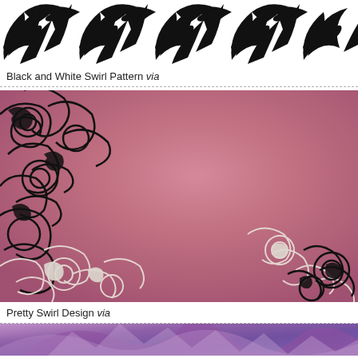[Figure (illustration): Black and white floral/leaf swirl repeat pattern on white background, cropped at top]
Black and White Swirl Pattern via
[Figure (illustration): Pink gradient background with decorative black and white swirl/scroll floral designs in corners]
Pretty Swirl Design via
[Figure (illustration): Purple geometric/swirl pattern, partially visible at bottom of page]